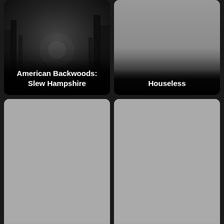[Figure (photo): Movie poster for American Backwoods: Slew Hampshire - dark forest/night scene with gradient overlay and title text]
[Figure (photo): Movie poster for Houseless - gray/dark gradient with title text at bottom]
[Figure (photo): Movie poster for To Go Viking - gray placeholder poster with title text at bottom]
[Figure (photo): Movie poster for Big Sur - gray placeholder poster with title text at bottom]
[Figure (photo): Movie poster with dark forest scene, text reading BASED ON TRUE EVENTS at top]
[Figure (photo): Movie poster with teal/dark blue background, Thai text ดูดที่ฉันเหงา and silhouette figure with umbrella]